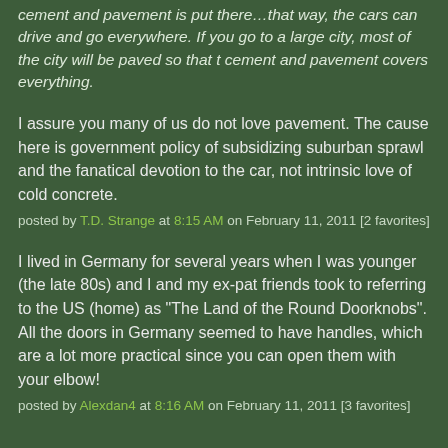cement and pavement is put there…that way, the cars can drive and go everywhere. If you go to a large city, most of the city will be paved so that t cement and pavement covers everything.
I assure you many of us do not love pavement. The cause here is government policy of subsidizing suburban sprawl and the fanatical devotion to the car, not intrinsic love of cold concrete.
posted by T.D. Strange at 8:15 AM on February 11, 2011 [2 favorites]
I lived in Germany for several years when I was younger (the late 80s) and I and my ex-pat friends took to referring to the US (home) as "The Land of the Round Doorknobs". All the doors in Germany seemed to have handles, which are a lot more practical since you can open them with your elbow!
posted by Alexdan4 at 8:16 AM on February 11, 2011 [3 favorites]